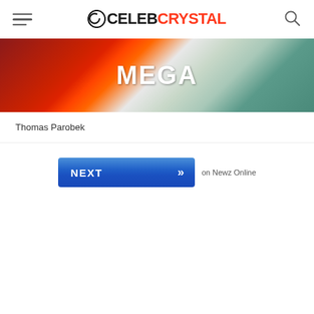CELEBCRYSTAL
[Figure (photo): Person wearing red clothing with MEGA text visible, orange strap, teal background]
Thomas Parobek
[Figure (other): NEXT button with double chevron arrows, blue gradient button with 'on Newz Online' text beside it]